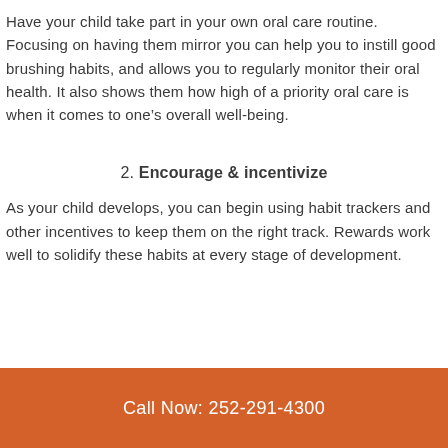Have your child take part in your own oral care routine. Focusing on having them mirror you can help you to instill good brushing habits, and allows you to regularly monitor their oral health. It also shows them how high of a priority oral care is when it comes to one’s overall well-being.
2. Encourage & incentivize
As your child develops, you can begin using habit trackers and other incentives to keep them on the right track. Rewards work well to solidify these habits at every stage of development.
Call Now: 252-291-4300